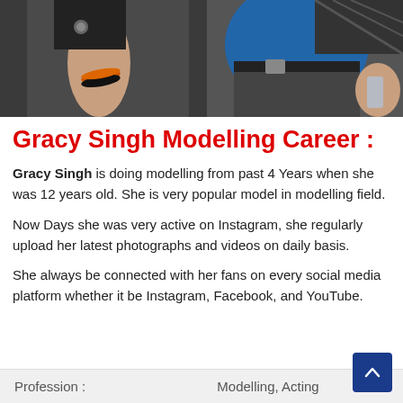[Figure (photo): Close-up photo of two people, one with orange/black bracelet and dark outfit, another in blue jacket, dark pants with belt.]
Gracy Singh Modelling Career :
Gracy Singh is doing modelling from past 4 Years when she was 12 years old. She is very popular model in modelling field.
Now Days she was very active on Instagram, she regularly upload her latest photographs and videos on daily basis.
She always be connected with her fans on every social media platform whether it be Instagram, Facebook, and YouTube.
| Profession : |  |
| --- | --- |
| Profession : | Modelling, Acting |